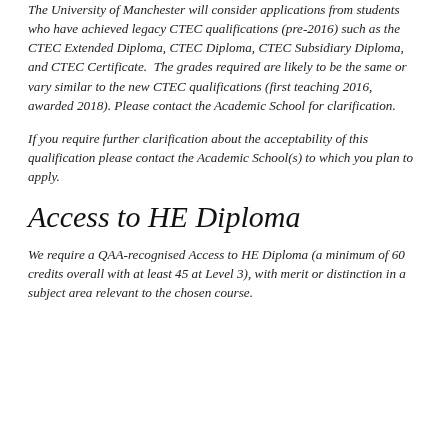The University of Manchester will consider applications from students who have achieved legacy CTEC qualifications (pre-2016) such as the CTEC Extended Diploma, CTEC Diploma, CTEC Subsidiary Diploma, and CTEC Certificate.  The grades required are likely to be the same or vary similar to the new CTEC qualifications (first teaching 2016, awarded 2018). Please contact the Academic School for clarification.
If you require further clarification about the acceptability of this qualification please contact the Academic School(s) to which you plan to apply.
Access to HE Diploma
We require a QAA-recognised Access to HE Diploma (a minimum of 60 credits overall with at least 45 at Level 3), with merit or distinction in a subject area relevant to the chosen course.